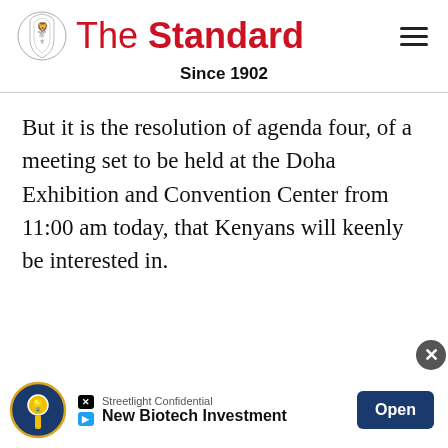The Standard — Since 1902
But it is the resolution of agenda four, of a meeting set to be held at the Doha Exhibition and Convention Center from 11:00 am today, that Kenyans will keenly be interested in.
[Figure (other): Advertisement banner: Streetlight Confidential — New Biotech Investment, with Open button]